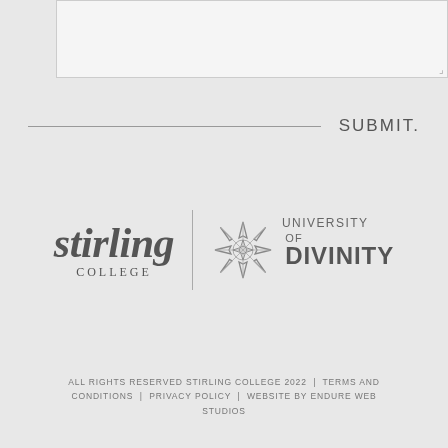[Figure (screenshot): Text area input box with resize handle at bottom right]
SUBMIT.
[Figure (logo): Stirling College | University of Divinity combined logo with decorative star/snowflake icon]
ALL RIGHTS RESERVED STIRLING COLLEGE 2022 | TERMS AND CONDITIONS | PRIVACY POLICY | WEBSITE BY ENDURE WEB STUDIOS